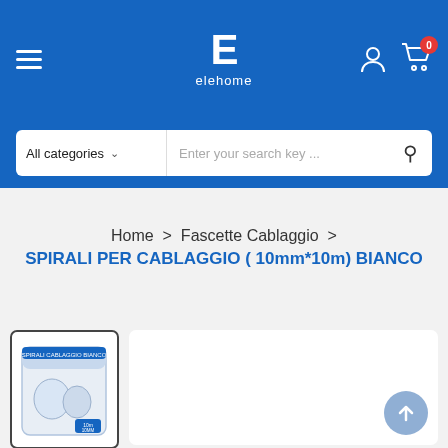elehome
All categories — Enter your search key ...
Home > Fascette Cablaggio >
SPIRALI PER CABLAGGIO ( 10mm*10m) BIANCO
[Figure (photo): Product thumbnail: white spiral cable management wrap in a clear bag labeled 10m 10mm]